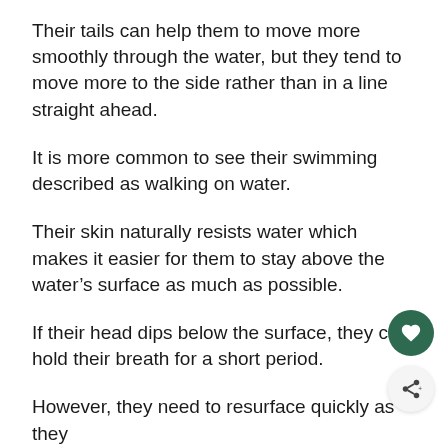Their tails can help them to move more smoothly through the water, but they tend to move more to the side rather than in a line straight ahead.
It is more common to see their swimming described as walking on water.
Their skin naturally resists water which makes it easier for them to stay above the water’s surface as much as possible.
If their head dips below the surface, they can hold their breath for a short period.
However, they need to resurface quickly as they